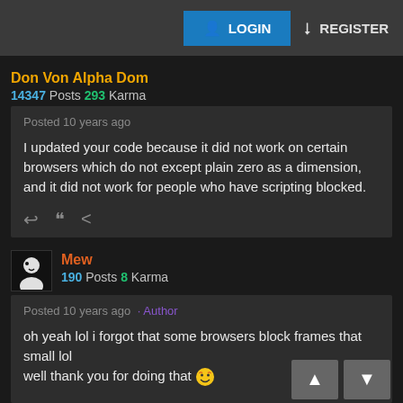LOGIN   REGISTER
Don Von Alpha Dom
14347 Posts 293 Karma
Posted 10 years ago

I updated your code because it did not work on certain browsers which do not except plain zero as a dimension, and it did not work for people who have scripting blocked.
Mew
190 Posts 8 Karma
Posted 10 years ago · Author

oh yeah lol i forgot that some browsers block frames that small lol
well thank you for doing that 😆